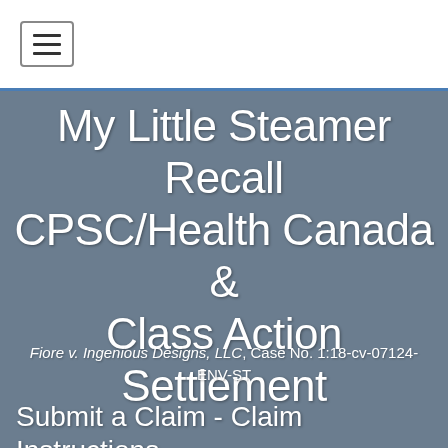[Figure (other): Navigation hamburger menu button with three horizontal lines]
My Little Steamer Recall
CPSC/Health Canada & Class Action Settlement
Fiore v. Ingenious Designs, LLC, Case No. 1:18-cv-07124-ENV-ST
Submit a Claim - Claim Instructions